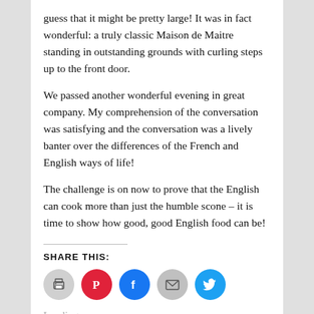guess that it might be pretty large! It was in fact wonderful: a truly classic Maison de Maitre standing in outstanding grounds with curling steps up to the front door.
We passed another wonderful evening in great company. My comprehension of the conversation was satisfying and the conversation was a lively banter over the differences of the French and English ways of life!
The challenge is on now to prove that the English can cook more than just the humble scone – it is time to show how good, good English food can be!
SHARE THIS:
[Figure (infographic): Five circular social sharing icon buttons: print (gray), Pinterest (red), Facebook (blue), email (gray), Twitter (blue)]
Loading...